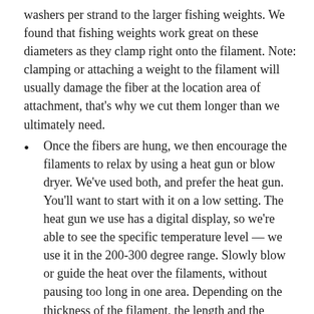washers per strand to the larger fishing weights. We found that fishing weights work great on these diameters as they clamp right onto the filament. Note: clamping or attaching a weight to the filament will usually damage the fiber at the location area of attachment, that's why we cut them longer than we ultimately need.
Once the fibers are hung, we then encourage the filaments to relax by using a heat gun or blow dryer. We've used both, and prefer the heat gun. You'll want to start with it on a low setting. The heat gun we use has a digital display, so we're able to see the specific temperature level — we use it in the 200-300 degree range. Slowly blow or guide the heat over the filaments, without pausing too long in one area. Depending on the thickness of the filament, the length and the strength of the heat gun, you may want to gently hold the filament with your other hand to help prevent them from tangling into each other. What's interesting is that you can actually see the filaments relax